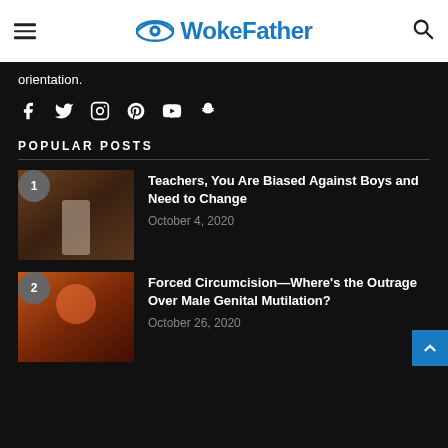WokeFather
orientation.
[Figure (infographic): Social media icons: Facebook, Twitter, Instagram, Pinterest, YouTube, Snapchat]
POPULAR POSTS
Teachers, You Are Biased Against Boys and Need to Change — October 4, 2020
Forced Circumcision—Where's the Outrage Over Male Genital Mutilation? — October 26, 2020